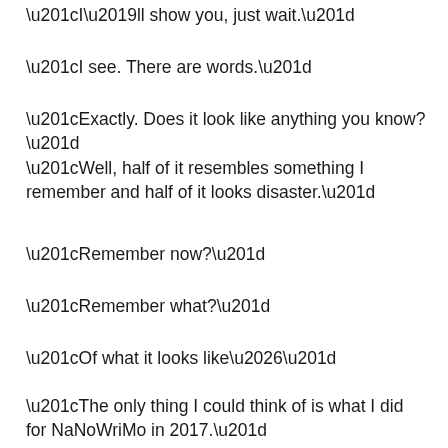“I’ll show you, just wait.”
“I see. There are words.”
“Exactly. Does it look like anything you know?”
“Well, half of it resembles something I remember and half of it looks disaster.”
“Remember now?”
“Remember what?”
“Of what it looks like…”
“The only thing I could think of is what I did for NaNoWriMo in 2017.”
“Is that how you—?”